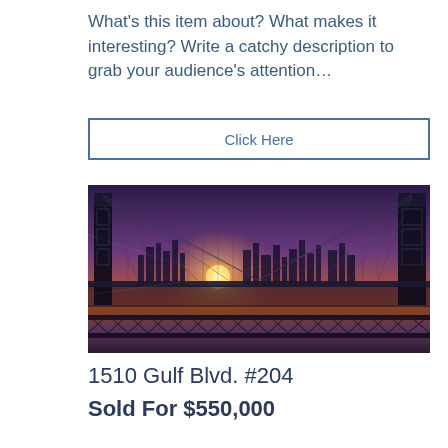What's this item about? What makes it interesting? Write a catchy description to grab your audience's attention…
Click Here
[Figure (photo): A dramatic sunset photo of the Manhattan Bridge with the New York City skyline in the background, warm golden sunburst light reflecting on the water below.]
1510 Gulf Blvd. #204
Sold For $550,000